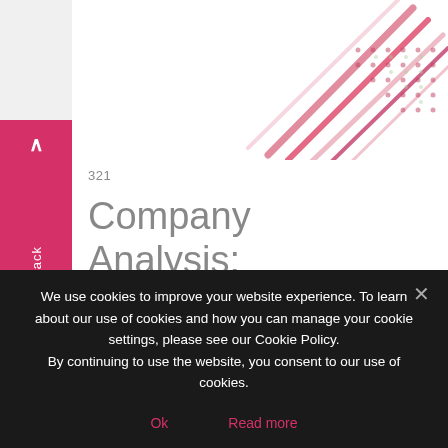[Figure (illustration): Decorative geometric pattern with pink/red diagonal lines and scattered dots in top right corner]
321
Company Analysis: Roche
$3,000.00
Add to cart
PharmaVitae explores Roche's prescription pharmaceutical performance and outlook over 2019–
We use cookies to improve your website experience. To learn about our use of cookies and how you can manage your cookie settings, please see our Cookie Policy.
By continuing to use the website, you consent to our use of cookies.
Ok
Read more